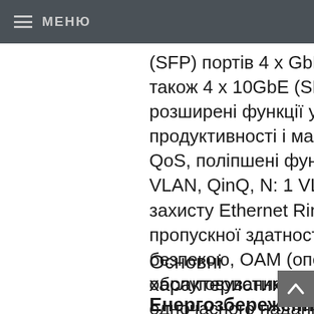МЕНЮ
(SFP) портів 4 x GbE Combo (RJ45 / SFP) порту, а також 4 x 10GbE (SFP +) порту, об'єднує розширені функції управління і безпеки, продуктивності і масштабованості. Він підтримує QoS, поліпшені функції VLAN (VLAN VPN, Voice VLAN, QinQ, N: 1 VLAN Translation і т.д.), протокол захисту Ethernet Ring (G.8032), контроль пропускної здатності, інтелектуальне управління безпекою, OAM (операції, адміністрування і обслуговування), підтримку можливості одночасного надання 3-х послуг (TriplePlay): високошвидкісного доступу в Інтернет, передачі голосу і відео.
Основні характеристики:
Енергозбереження